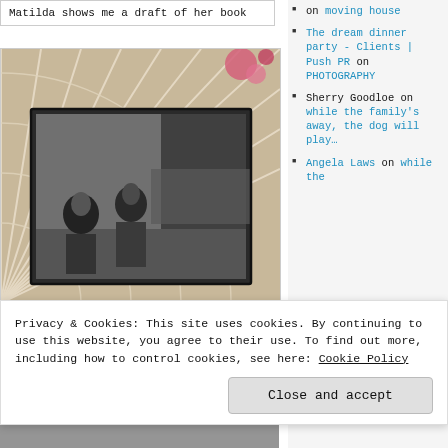Matilda shows me a draft of her book
[Figure (photo): A black and white photo of people in a room, placed on top of a decorative fan background with pink flowers]
on moving house
The dream dinner party - Clients | Push PR on PHOTOGRAPHY
Sherry Goodloe on while the family's away, the dog will play…
Angela Laws on while the
Privacy & Cookies: This site uses cookies. By continuing to use this website, you agree to their use. To find out more, including how to control cookies, see here: Cookie Policy
Close and accept